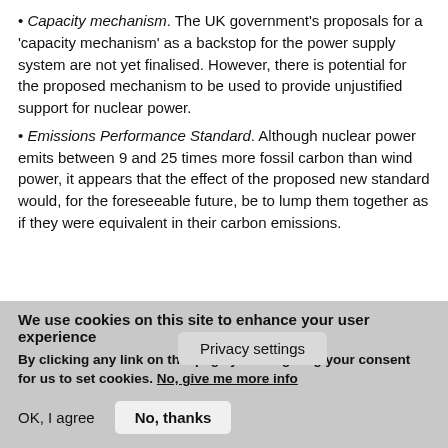Capacity mechanism. The UK government's proposals for a 'capacity mechanism' as a backstop for the power supply system are not yet finalised. However, there is potential for the proposed mechanism to be used to provide unjustified support for nuclear power.
Emissions Performance Standard. Although nuclear power emits between 9 and 25 times more fossil carbon than wind power, it appears that the effect of the proposed new standard would, for the foreseeable future, be to lump them together as if they were equivalent in their carbon emissions.
The nuclear subsidie... the reports
Privacy settings
We use cookies on this site to enhance your user experience
By clicking any link on this page you are giving your consent for us to set cookies. No, give me more info
OK, I agree
No, thanks